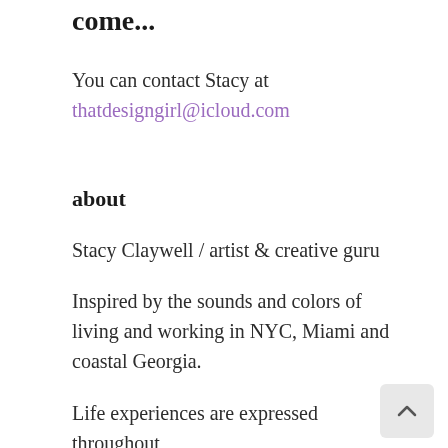come...
You can contact Stacy at
thatdesigngirl@icloud.com
about
Stacy Claywell / artist & creative guru
Inspired by the sounds and colors of living and working in NYC, Miami and coastal Georgia.
Life experiences are expressed throughout
my work creating a mix of vibrant color as well as a subdued palette. You will find hints of music and